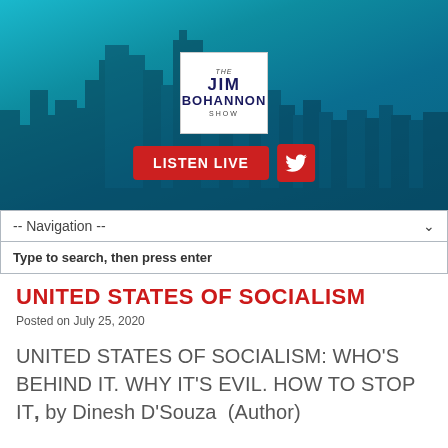[Figure (screenshot): The Jim Bohannon Show website header with city skyline background, logo, LISTEN LIVE button with Twitter icon, navigation dropdown, and search bar.]
UNITED STATES OF SOCIALISM
Posted on July 25, 2020
UNITED STATES OF SOCIALISM: WHO'S BEHIND IT. WHY IT'S EVIL. HOW TO STOP IT, by Dinesh D'Souza  (Author)